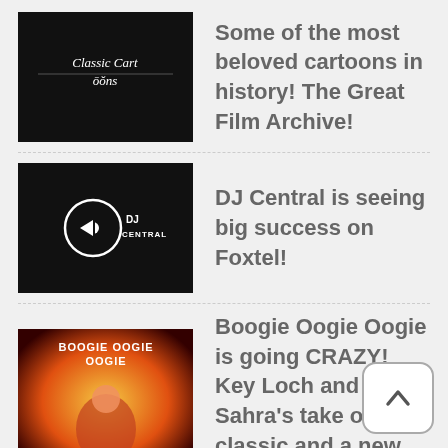Some of the most beloved cartoons in history! The Great Film Archive!
DJ Central is seeing big success on Foxtel!
Boogie Oogie Oogie is going CRAZY! Key Loch and Sahra's take on a classic and a new vid!
The Judithilen Suga Boom Boom dance is BACK, and the Key Crashers are on fire!